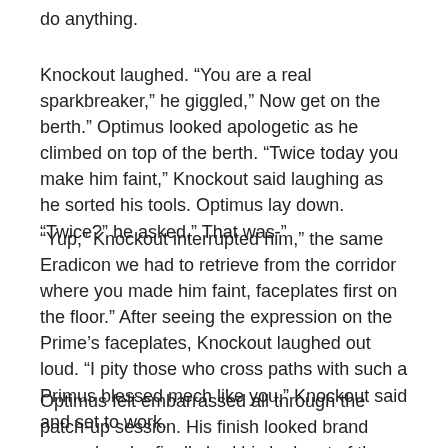do anything.
Knockout laughed. “You are a real sparkbreaker,” he giggled,” Now get on the berth.” Optimus looked apologetic as he climbed on top of the berth. “Twice today you make him faint,” Knockout said laughing as he sorted his tools. Optimus lay down. “Twice?” he asked,” That was-”
“Yup,” Knockout interrupted him,” the same Eradicon we had to retrieve from the corridor where you made him faint, faceplates first on the floor.” After seeing the expression on the Prime’s faceplates, Knockout laughed out loud. “I pity those who cross paths with such a Primus blessed mech like you,” Knockout said and set to work.
Optimus felt embarrassed all through the patch-up session. His finish looked brand new, when he finally had his look out of theplace. “You do not even see